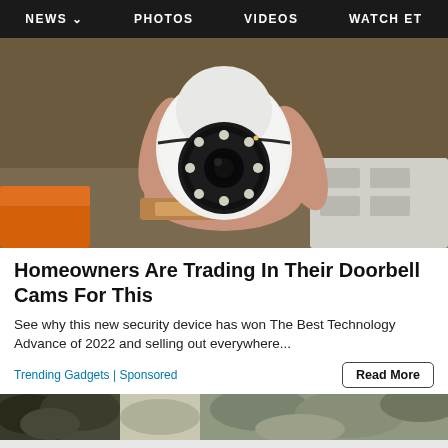NEWS  PHOTOS  VIDEOS  WATCH ET
[Figure (photo): A hand holding a small white dome security camera with a circular lens array featuring multiple LED lights around a central camera lens, shown against a background with an orange object and a cardboard box.]
Homeowners Are Trading In Their Doorbell Cams For This
See why this new security device has won The Best Technology Advance of 2022 and selling out everywhere...
Trending Gadgets | Sponsored
[Figure (photo): Partial view of a nature/outdoor scene with trees and foliage, shown as a strip at the bottom of an article card.]